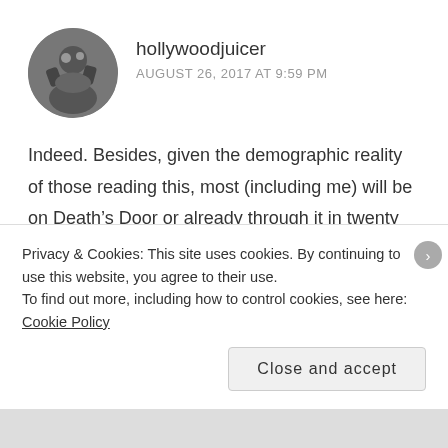[Figure (photo): Circular avatar photo in black and white showing a person or figure]
hollywoodjuicer
AUGUST 26, 2017 AT 9:59 PM
Indeed. Besides, given the demographic reality of those reading this, most (including me) will be on Death’s Door or already through it in twenty years, so what’s the point of moving? The vast green forests of Canada are destined to dry out and burn, the various island paradises of the globe will sink beneath the rising seas, and our
Privacy & Cookies: This site uses cookies. By continuing to use this website, you agree to their use.
To find out more, including how to control cookies, see here: Cookie Policy
Close and accept